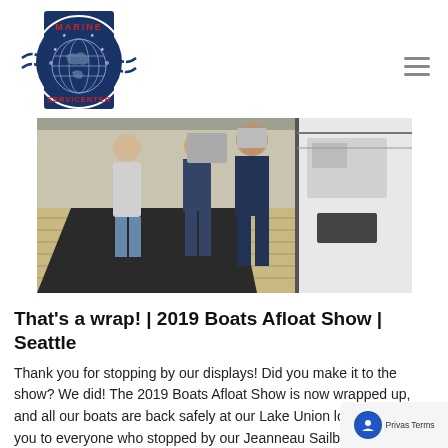[Figure (logo): Marine Servicenter circular logo with globe and wave design, blue and red colors]
[Figure (photo): People standing on a boat deck at a boat show, white sailboat visible]
That’s a wrap! | 2019 Boats Afloat Show | Seattle
Thank you for stopping by our displays! Did you make it to the show? We did! The 2019 Boats Afloat Show is now wrapped up, and all our boats are back safely at our Lake Union location. Thank you to everyone who stopped by our Jeanneau Sailboat display and [...]